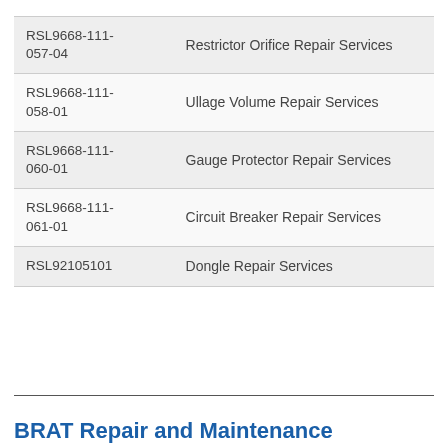| RSL9668-111-057-04 | Restrictor Orifice Repair Services |
| RSL9668-111-058-01 | Ullage Volume Repair Services |
| RSL9668-111-060-01 | Gauge Protector Repair Services |
| RSL9668-111-061-01 | Circuit Breaker Repair Services |
| RSL92105101 | Dongle Repair Services |
BRAT Repair and Maintenance